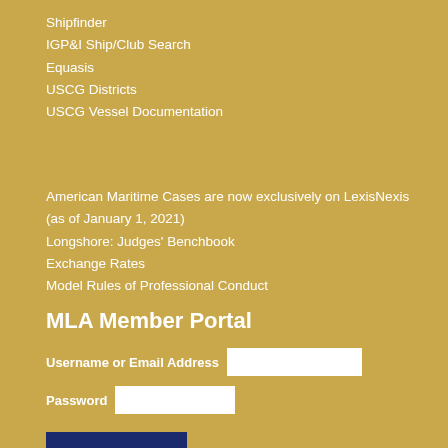Shipfinder
IGP&I Ship/Club Search
Equasis
USCG Districts
USCG Vessel Documentation
American Maritime Cases are now exclusively on LexisNexis (as of January 1, 2021)
Longshore: Judges' Benchbook
Exchange Rates
Model Rules of Professional Conduct
MLA Member Portal
Username or Email Address [input field]
Password [input field]
LOG IN